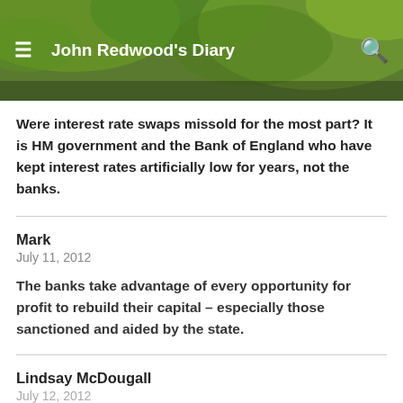John Redwood's Diary
Were interest rate swaps missold for the most part? It is HM government and the Bank of England who have kept interest rates artificially low for years, not the banks.
Mark
July 11, 2012
The banks take advantage of every opportunity for profit to rebuild their capital – especially those sanctioned and aided by the state.
Lindsay McDougall
July 12, 2012